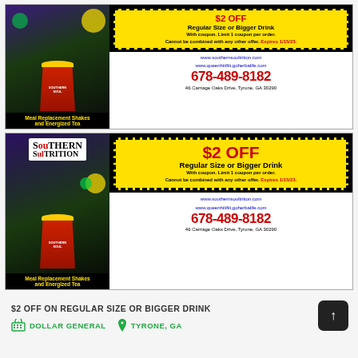[Figure (photo): Two Southern Soultrition coupons showing meal replacement shakes and energized tea drinks with $2 OFF offer for regular size or bigger drink]
$2 OFF   Regular Size or Bigger Drink
With coupon. Limit 1 coupon per order.
Cannot be combined with any other offer. Expires 1/15/23.
www.southernsoultrition.com
www.queenhiitfiit.goherbalife.com
678-489-8182
46 Carriage Oaks Drive, Tyrone, GA 30290
Meal Replacement Shakes and Energized Tea
$2 OFF   Regular Size or Bigger Drink
With coupon. Limit 1 coupon per order.
Cannot be combined with any other offer. Expires 1/15/23.
www.southernsoultrition.com
www.queenhiitfiit.goherbalife.com
678-489-8182
46 Carriage Oaks Drive, Tyrone, GA 30290
Meal Replacement Shakes and Energized Tea
$2 OFF ON REGULAR SIZE OR BIGGER DRINK
DOLLAR GENERAL   TYRONE, GA